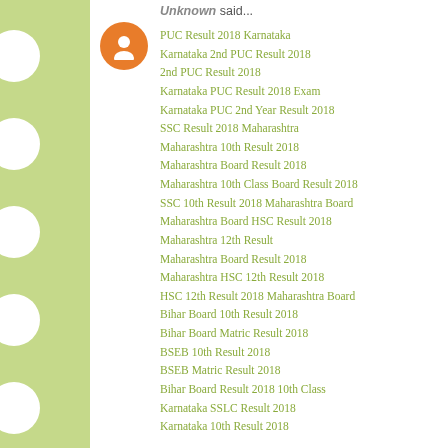Unknown said...
PUC Result 2018 Karnataka
Karnataka 2nd PUC Result 2018
2nd PUC Result 2018
Karnataka PUC Result 2018 Exam
Karnataka PUC 2nd Year Result 2018
SSC Result 2018 Maharashtra
Maharashtra 10th Result 2018
Maharashtra Board Result 2018
Maharashtra 10th Class Board Result 2018
SSC 10th Result 2018 Maharashtra Board
Maharashtra Board HSC Result 2018
Maharashtra 12th Result
Maharashtra Board Result 2018
Maharashtra HSC 12th Result 2018
HSC 12th Result 2018 Maharashtra Board
Bihar Board 10th Result 2018
Bihar Board Matric Result 2018
BSEB 10th Result 2018
BSEB Matric Result 2018
Bihar Board Result 2018 10th Class
Karnataka SSLC Result 2018
Karnataka 10th Result 2018